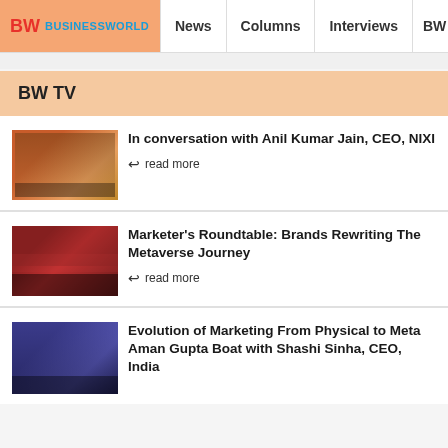BW BUSINESSWORLD | News | Columns | Interviews | BW
BW TV
In conversation with Anil Kumar Jain, CEO, NIXI
read more
Marketer's Roundtable: Brands Rewriting The Metaverse Journey
read more
Evolution of Marketing From Physical to Meta Aman Gupta Boat with Shashi Sinha, CEO, India